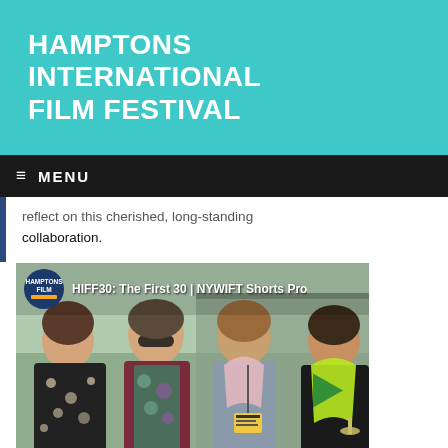HAMPTONS INTERNATIONAL FILM FESTIVAL
≡  MENU
reflect on this cherished, long-standing collaboration.
[Figure (photo): Video thumbnail showing four women posing together outdoors at HIFF30. Title overlay reads: HIFF30: The First 30 | NYWIFT Shorts Pro. A Hamptons Film logo circle is visible top left, and a green play button is visible at right.]